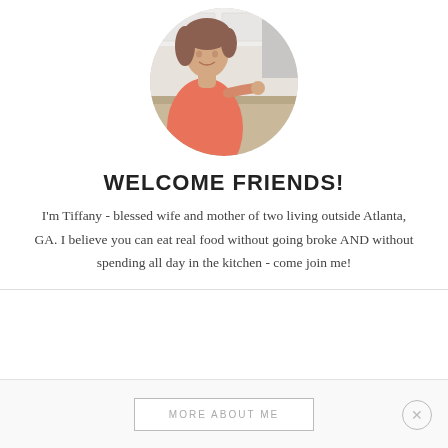[Figure (photo): Circular portrait photo of Tiffany, a woman in a coral/pink top, smiling and working in a bright kitchen with white cabinets and a marble countertop.]
WELCOME FRIENDS!
I'm Tiffany - blessed wife and mother of two living outside Atlanta, GA. I believe you can eat real food without going broke AND without spending all day in the kitchen - come join me!
MORE ABOUT ME